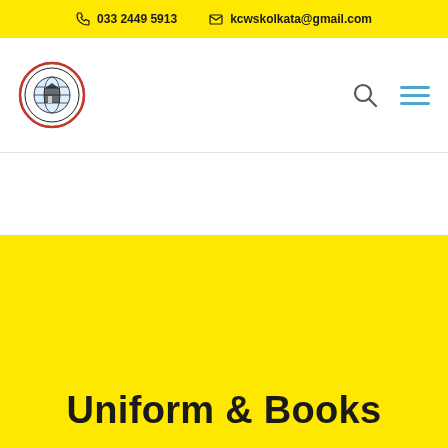033 2449 5913   kcwskolkata@gmail.com
[Figure (logo): School circular logo with globe and text]
Uniform & Books